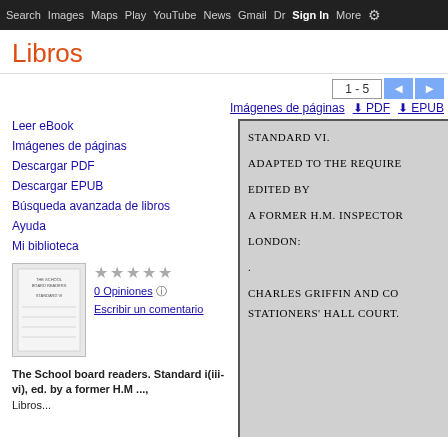Search  Images  Maps  Play  YouTube  News  Gmail  Dr  Sign In  More  ⚙
Libros
1 - 5
Imágenes de páginas   ⬇ PDF   ⬇ EPUB
Leer eBook
Imágenes de páginas
Descargar PDF
Descargar EPUB
Búsqueda avanzada de libros
Ayuda
Mi biblioteca
[Figure (illustration): Book cover thumbnail for 'The School board readers. Standard i(iii-vi)']
★★★★★
0 Opiniones  ⓘ
Escribir un comentario
The School board readers. Standard i(iii-vi), ed. by a former H.M ..., Libros...
[Figure (screenshot): Book page preview showing: STANDARD VI. ADAPTED TO THE REQUIRE EDITED BY A FORMER H.M. INSPECTOR LONDON: . CHARLES GRIFFIN AND CO STATIONERS' HALL COURT.]